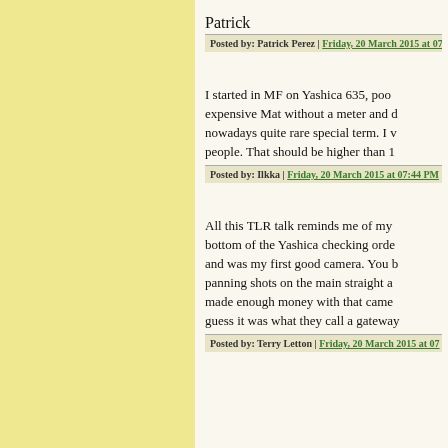Patrick
Posted by: Patrick Perez | Friday, 20 March 2015 at 07:...
I started in MF on Yashica 635, poor expensive Mat without a meter and d... nowadays quite rare special term. I v... people. That should be higher than 1...
Posted by: Ilkka | Friday, 20 March 2015 at 07:44 PM...
All this TLR talk reminds me of my ... bottom of the Yashica checking orde... and was my first good camera. You b... panning shots on the main straight a... made enough money with that came... guess it was what they call a gateway...
Posted by: Terry Letton | Friday, 20 March 2015 at 07:...